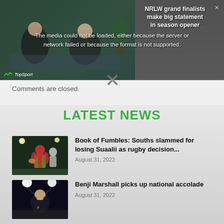[Figure (screenshot): Video player showing error message overlay. Left half shows blurred background with people sitting, right half shows news headline. Error text reads: The media could not be loaded, either because the server or network failed or because the format is not supported. Top right shows an NRLW grand finalists story headline.]
The media could not be loaded, either because the server or network failed or because the format is not supported.
NRLW grand finalists make big statement in season opener
Comments are closed.
LATEST NEWS
[Figure (photo): Rugby league player in red and green South Sydney Rabbitohs jersey running with the ball under floodlights]
Book of Fumbles: Souths slammed for losing Suaalii as rugby decision...
August 31, 2022
[Figure (photo): Rugby league player Benji Marshall under bright stadium lights in a dark jersey]
Benji Marshall picks up national accolade
August 31, 2022